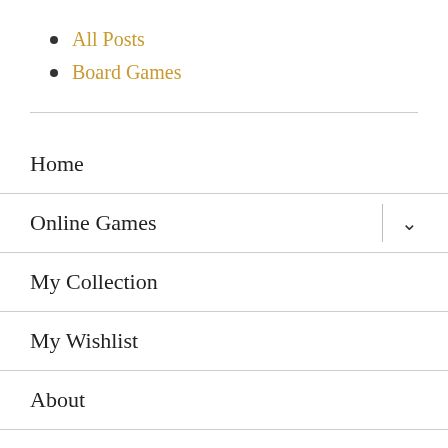All Posts
Board Games
Home
Online Games
My Collection
My Wishlist
About
Memoirs of a Board Gamer  /  Proudly powered by WordPress